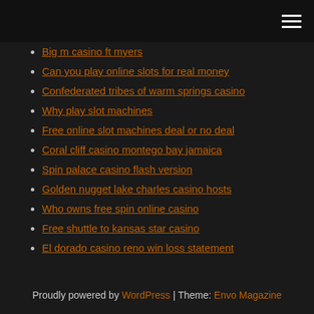[navigation bar with hamburger menu]
Big m casino ft myers
Can you play online slots for real money
Confederated tribes of warm springs casino
Why play slot machines
Free online slot machines deal or no deal
Coral cliff casino montego bay jamaica
Spin palace casino flash version
Golden nugget lake charles casino hosts
Who owns free spin online casino
Free shuttle to kansas star casino
El dorado casino reno win loss statement
Proudly powered by WordPress | Theme: Envo Magazine